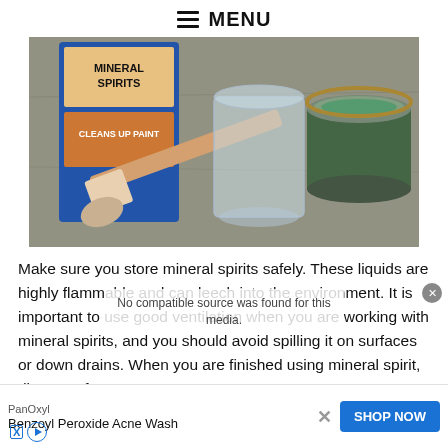≡ MENU
[Figure (photo): Mineral spirits bottle, paint brush, plastic cup, and open tin of finish on a concrete surface]
Make sure you store mineral spirits safely. These liquids are highly flammable and can leech into the environment. It is important to use good ventilation when you are working with mineral spirits, and you should avoid spilling it on surfaces or down drains. When you are finished using mineral spirit, dispose of
No compatible source was found for this media.
[Figure (screenshot): Advertisement banner: PanOxyl Benzoyl Peroxide Acne Wash with SHOP NOW button]